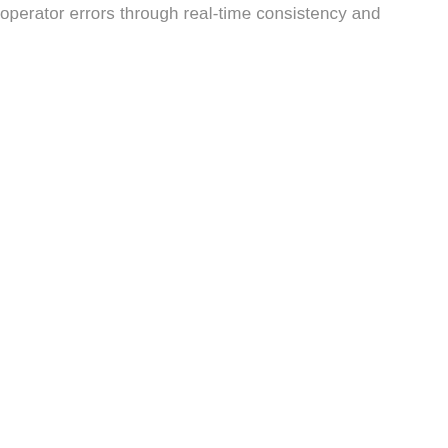operator errors through real-time consistency and